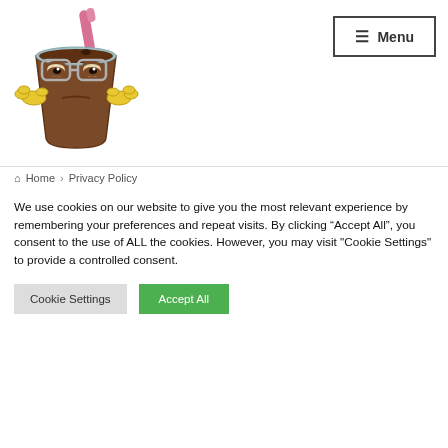[Figure (illustration): Cartoon mascot: an iced coffee cup character with sleepy eyes, a straw, and small yellow wings/hands on the sides]
[Figure (other): Menu button with hamburger icon and text 'Menu' inside a rectangular border]
Home > Privacy Policy
We use cookies on our website to give you the most relevant experience by remembering your preferences and repeat visits. By clicking “Accept All”, you consent to the use of ALL the cookies. However, you may visit "Cookie Settings" to provide a controlled consent.
Cookie Settings
Accept All